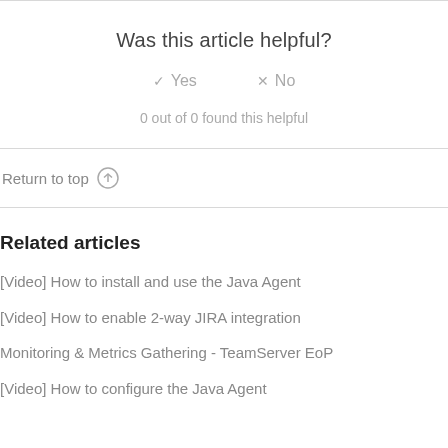Was this article helpful?
✓ Yes   × No
0 out of 0 found this helpful
Return to top ↑
Related articles
[Video] How to install and use the Java Agent
[Video] How to enable 2-way JIRA integration
Monitoring & Metrics Gathering - TeamServer EoP
[Video] How to configure the Java Agent